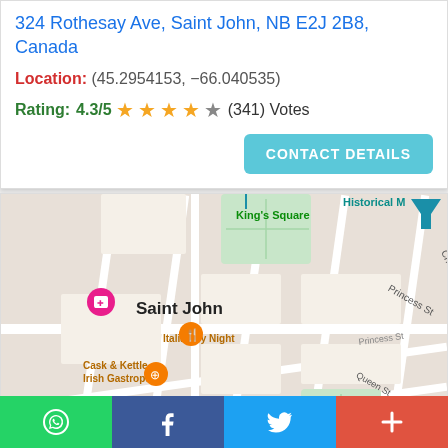324 Rothesay Ave, Saint John, NB E2J 2B8, Canada
Location: (45.2954153, -66.040535)
Rating: 4.3/5 ★★★★☆ (341) Votes
[Figure (map): Google Maps view of Saint John, NB showing King's Square, Princess St, Orange St, Queen Square Farmers' Market, Eddy Group Limited, Italian by Night, Cask & Kettle Irish Gastropub, 06 Waterfront Container Village, Darlene Mc Kin...]
[Figure (infographic): Social sharing bar with WhatsApp, Facebook, Twitter, and plus buttons]